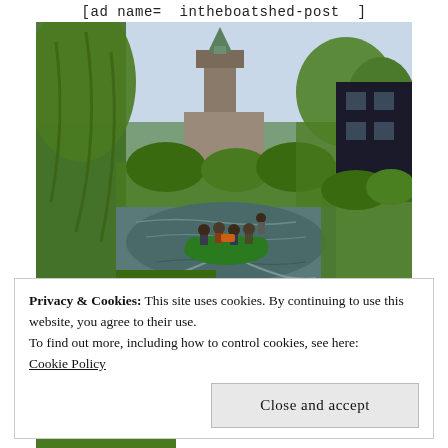[ad name= intheboatshed-post ]
[Figure (photo): A green boat with passengers on a canal flanked by willow trees and lush green vegetation, with a church tower visible in the background and a dark building to the right.]
Privacy & Cookies: This site uses cookies. By continuing to use this website, you agree to their use.
To find out more, including how to control cookies, see here:
Cookie Policy

Close and accept
[Figure (photo): Partial view of a second photo showing green trees at the bottom of the page.]